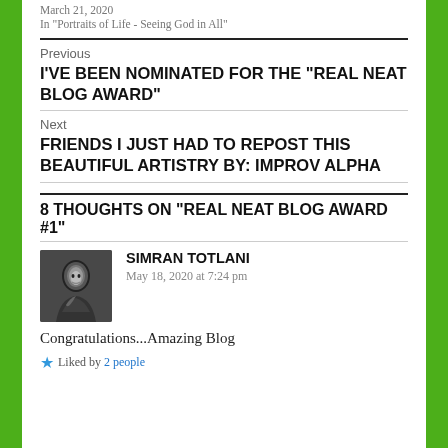March 21, 2020
In "Portraits of Life - Seeing God in All"
Previous
I'VE BEEN NOMINATED FOR THE “REAL NEAT BLOG AWARD”
Next
FRIENDS I JUST HAD TO REPOST THIS BEAUTIFUL ARTISTRY BY: IMPROV ALPHA
8 THOUGHTS ON “REAL NEAT BLOG AWARD #1”
SIMRAN TOTLANI
May 18, 2020 at 7:24 pm
Congratulations...Amazing Blog
Liked by 2 people